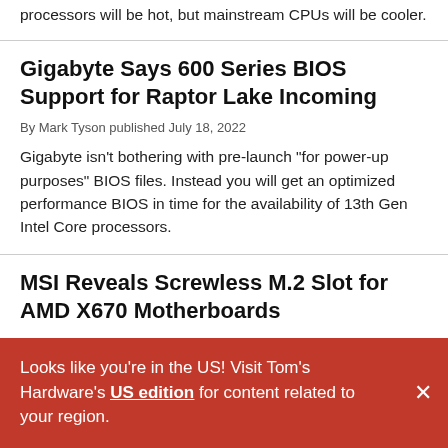processors will be hot, but mainstream CPUs will be cooler.
Gigabyte Says 600 Series BIOS Support for Raptor Lake Incoming
By Mark Tyson published July 18, 2022
Gigabyte isn't bothering with pre-launch “for power-up purposes” BIOS files. Instead you will get an optimized performance BIOS in time for the availability of 13th Gen Intel Core processors.
MSI Reveals Screwless M.2 Slot for AMD X670 Motherboards
Looks like you're in the US! Visit Tom's Hardware's US edition for content related to your region.